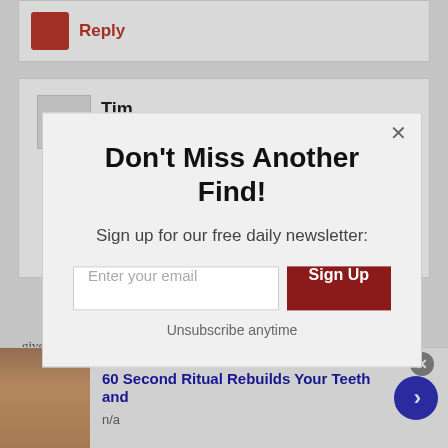[Figure (screenshot): Partial comment card with red thumbs icon and Reply button]
Tim
Feb 21, 2017 at 3:43pm
[Figure (infographic): Newsletter signup modal popup with title 'Don't Miss Another Find!', subtitle 'Sign up for our free daily newsletter:', email input field, Sign Up button, and 'Unsubscribe anytime' text]
gives on it it couldn't warm up quickly enough.
The rust got to it in the end. My Mom went to get a
[Figure (photo): Advertisement bar at bottom with woman's photo, text '60 Second Ritual Rebuilds Your Teeth and', 'n/a', close button, and blue arrow button]